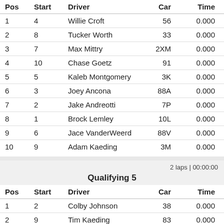| Pos | Start | Driver | Car | Time |
| --- | --- | --- | --- | --- |
| 1 | 4 | Willie Croft | 56 | 0.000 |
| 2 | 8 | Tucker Worth | 33 | 0.000 |
| 3 | 7 | Max Mittry | 2XM | 0.000 |
| 4 | 10 | Chase Goetz | 91 | 0.000 |
| 5 | 5 | Kaleb Montgomery | 3K | 0.000 |
| 6 | 3 | Joey Ancona | 88A | 0.000 |
| 7 | 2 | Jake Andreotti | 7P | 0.000 |
| 8 | 1 | Brock Lemley | 10L | 0.000 |
| 9 | 6 | Jace VanderWeerd | 88V | 0.000 |
| 10 | 9 | Adam Kaeding | 3M | 0.000 |
2 laps | 00:00:00
Qualifying 5
| Pos | Start | Driver | Car | Time |
| --- | --- | --- | --- | --- |
| 1 | 2 | Colby Johnson | 38 | 0.000 |
| 2 | 9 | Tim Kaeding | 83 | 0.000 |